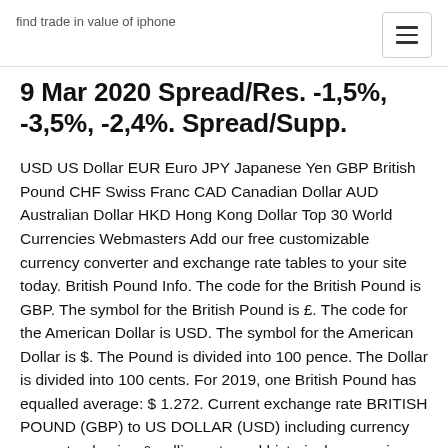find trade in value of iphone
9 Mar 2020 Spread/Res. -1,5%, -3,5%, -2,4%. Spread/Supp.
USD US Dollar EUR Euro JPY Japanese Yen GBP British Pound CHF Swiss Franc CAD Canadian Dollar AUD Australian Dollar HKD Hong Kong Dollar Top 30 World Currencies Webmasters Add our free customizable currency converter and exchange rate tables to your site today. British Pound Info. The code for the British Pound is GBP. The symbol for the British Pound is £. The code for the American Dollar is USD. The symbol for the American Dollar is $. The Pound is divided into 100 pence. The Dollar is divided into 100 cents. For 2019, one British Pound has equalled average: $ 1.272. Current exchange rate BRITISH POUND (GBP) to US DOLLAR (USD) including currency converter, buying & selling rate and historical conversion chart. Bloomberg quickly and accurately delivers Dollars to Pounds provides an